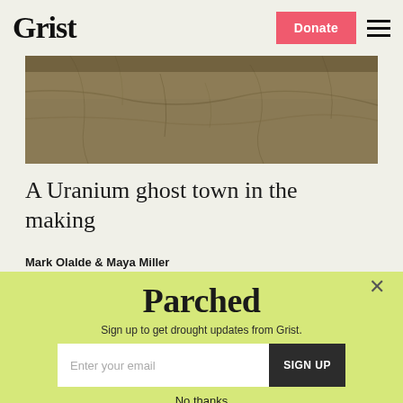Grist | Donate | Menu
[Figure (photo): Aerial or ground-level photo of dry, cracked earth in sepia/brown tones, representing drought or arid landscape.]
A Uranium ghost town in the making
Mark Olalde & Maya Miller
After FEMA overhaul, hundreds of
[Figure (infographic): Popup overlay with yellow-green background showing 'Parched' newsletter signup. Contains title 'Parched', subtitle 'Sign up to get drought updates from Grist.', an email input field, and a 'SIGN UP' button. A close (X) button is in the top right corner.]
No thanks